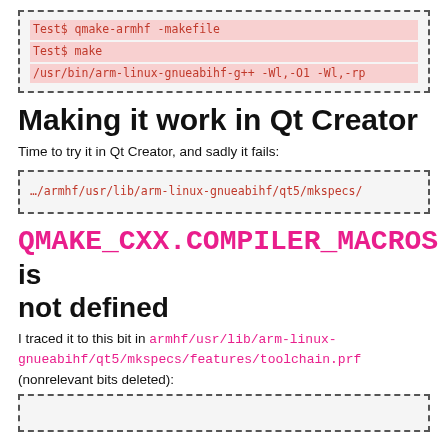[Figure (screenshot): Code block with dashed border showing terminal commands: Test$ qmake-armhf -makefile, Test$ make, /usr/bin/arm-linux-gnueabihf-g++ -Wl,-O1 -Wl,-rp]
Making it work in Qt Creator
Time to try it in Qt Creator, and sadly it fails:
[Figure (screenshot): Code block with dashed border showing path: …/armhf/usr/lib/arm-linux-gnueabihf/qt5/mkspecs/]
QMAKE_CXX.COMPILER_MACROS is not defined
I traced it to this bit in armhf/usr/lib/arm-linux-gnueabihf/qt5/mkspecs/features/toolchain.prf (nonrelevant bits deleted):
[Figure (screenshot): Code block with dashed border, partially visible at bottom of page]